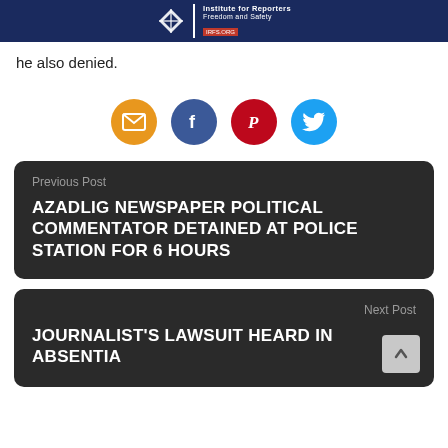Institute for Reporters Freedom and Safety
he also denied.
[Figure (infographic): Four social sharing icons in circles: email (orange), Facebook (dark blue), Pinterest (red), Twitter (light blue)]
Previous Post
AZADLIG NEWSPAPER POLITICAL COMMENTATOR DETAINED AT POLICE STATION FOR 6 HOURS
Next Post
JOURNALIST'S LAWSUIT HEARD IN ABSENTIA